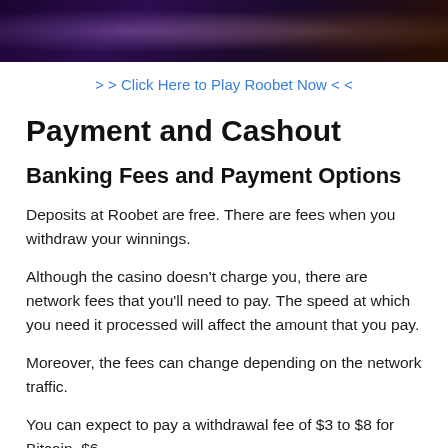[Figure (photo): Slot machines in a dark casino environment with purple and warm lighting]
> > Click Here to Play Roobet Now < <
Payment and Cashout
Banking Fees and Payment Options
Deposits at Roobet are free. There are fees when you withdraw your winnings.
Although the casino doesn't charge you, there are network fees that you'll need to pay. The speed at which you need it processed will affect the amount that you pay.
Moreover, the fees can change depending on the network traffic.
You can expect to pay a withdrawal fee of $3 to $8 for Bitcoin, $6